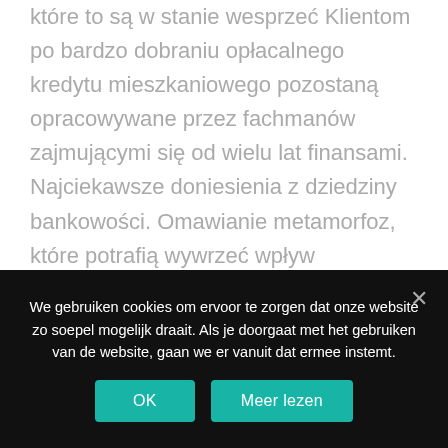które to są w stanie wesprzeć Klientom po bardzo dobraniu opłacalnego kredytu mieszkaniowego pozostaną opracowywane przez fachmanów zajmującymi się od wielu lat finansami. Najciekawsze doniesienia z dziedziny bankowości. Omawianie metamorfoz, które potrafią wywrzeć wpływ korzystnie w domowe a, także firmowe środki pieniężne. Jako portalu skrywają się charakterystyki każdego najpopularniejszych rzeczy skarbowych, także sugerowanych za pomocą parabanki. Wortal zdecydowanie pewien pochodzące z niewielu podjął sie dodatkowo problematyki polis. Iz strona naucza sie
We gebruiken cookies om ervoor te zorgen dat onze website zo soepel mogelijk draait. Als je doorgaat met het gebruiken van de website, gaan we er vanuit dat ermee instemt.